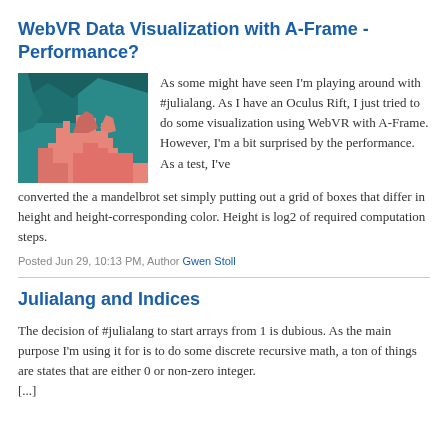WebVR Data Visualization with A-Frame - Performance?
[Figure (illustration): Thumbnail image showing a colorful abstract visualization with teal/green background and pink/salmon colored shapes resembling a cityscape or data visualization (Mandelbrot set rendered as 3D boxes).]
As some might have seen I'm playing around with #julialang. As I have an Oculus Rift, I just tried to do some visualization using WebVR with A-Frame. However, I'm a bit surprised by the performance. As a test, I've converted the a mandelbrot set simply putting out a grid of boxes that differ in height and height-corresponding color. Height is log2 of required computation steps.
Posted Jun 29, 10:13 PM, Author Gwen Stoll
Julialang and Indices
The decision of #julialang to start arrays from 1 is dubious. As the main purpose I'm using it for is to do some discrete recursive math, a ton of things are states that are either 0 or non-zero integer.
[...]